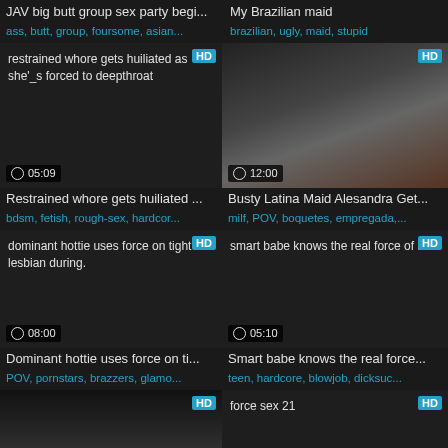JAV big butt group sex party begi...
ass, butt, group, foursome, asian...
My Brazilian maid
brazilian, ugly, maid, stupid
[Figure (screenshot): Video thumbnail placeholder with text 'restrained whore gets huiliated as she\'s forced to deepthroat', HD badge, duration 05:09]
Restrained whore gets huiliated ...
bdsm, fetish, rough-sex, hardcor...
[Figure (photo): Video thumbnail photo of busty latina, HD badge, duration 12:00]
Busty Latina Maid Alesandra Get...
milf, POV, boquetes, empregada,...
[Figure (screenshot): Video thumbnail placeholder with text 'dominant hottie uses force on tight lesbian during.', HD badge, duration 08:00]
Dominant hottie uses force on ti...
POV, pornstars, brazzers, glamo...
[Figure (screenshot): Video thumbnail placeholder with text 'smart babe knows the real force of a.', HD badge, duration 05:10]
Smart babe knows the real force...
teen, hardcore, blowjob, dicksuc...
[Figure (photo): Video thumbnail photo partially shown, HD badge]
[Figure (screenshot): Video thumbnail placeholder with text 'force sex 21', HD badge]